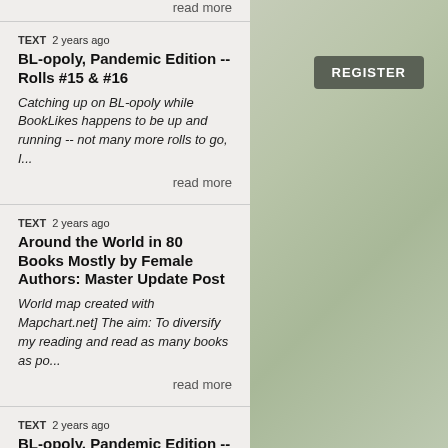read more
TEXT   2 years ago
BL-opoly, Pandemic Edition -- Rolls #15 & #16
Catching up on BL-opoly while BookLikes happens to be up and running -- not many more rolls to go, I...
read more
TEXT   2 years ago
Around the World in 80 Books Mostly by Female Authors: Master Update Post
World map created with Mapchart.net] The aim: To diversify my reading and read as many books as po...
read more
TEXT   2 years ago
BL-opoly, Pandemic Edition -- Roll #14
I rolled again earlier today, but since the dice sent me to a square I've already visited (#20, "The...